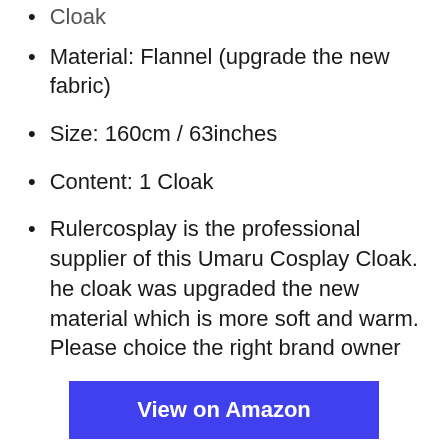Cloak
Material: Flannel (upgrade the new fabric)
Size: 160cm / 63inches
Content: 1 Cloak
Rulercosplay is the professional supplier of this Umaru Cosplay Cloak. he cloak was upgraded the new material which is more soft and warm. Please choice the right brand owner
View on Amazon
8. Generic Powerful Wakamoto (1000 Tablets x 2) Japan